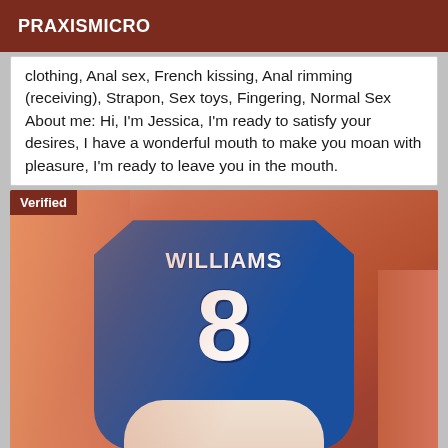PRAXISMICRO
clothing, Anal sex, French kissing, Anal rimming (receiving), Strapon, Sex toys, Fingering, Normal Sex About me: Hi, I'm Jessica, I'm ready to satisfy your desires, I have a wonderful mouth to make you moan with pleasure, I'm ready to leave you in the mouth.
[Figure (photo): Person wearing a blue sports jersey with 'WILLIAMS' and number 8 on it. A 'Verified' badge is shown in the top-left corner of the image.]